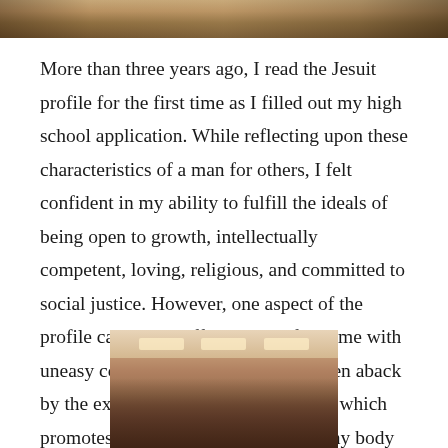[Figure (photo): Top portion of an indoor photo, likely a gymnasium or school facility, showing the upper part of the scene]
More than three years ago, I read the Jesuit profile for the first time as I filled out my high school application. While reflecting upon these characteristics of a man for others, I felt confident in my ability to fulfill the ideals of being open to growth, intellectually competent, loving, religious, and committed to social justice. However, one aspect of the profile caught me off guard and filled me with uneasy concern. I was completely taken aback by the expectation of physical fitness, which promotes students to maintain a healthy body throughout high school.
[Figure (photo): Bottom photo showing people (students) indoors, likely in a cafeteria or gym setting with ceiling lights visible]